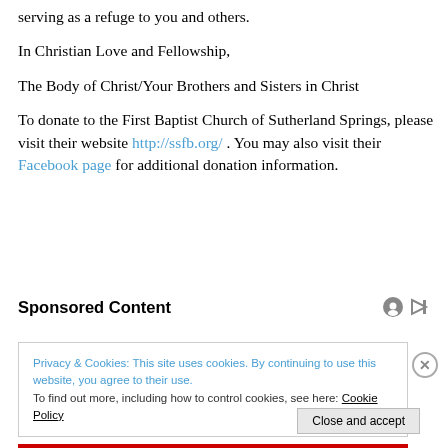serving as a refuge to you and others.
In Christian Love and Fellowship,
The Body of Christ/Your Brothers and Sisters in Christ
To donate to the First Baptist Church of Sutherland Springs, please visit their website http://ssfb.org/ . You may also visit their Facebook page for additional donation information.
Sponsored Content
Privacy & Cookies: This site uses cookies. By continuing to use this website, you agree to their use.
To find out more, including how to control cookies, see here: Cookie Policy